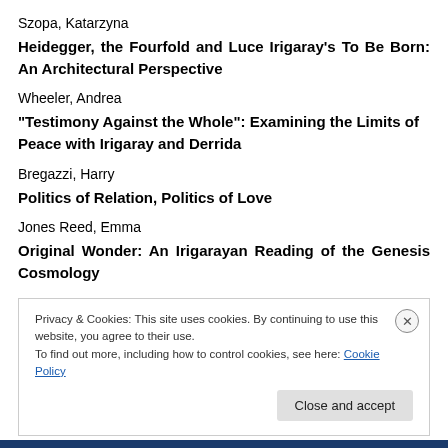Szopa, Katarzyna
Heidegger, the Fourfold and Luce Irigaray's To Be Born: An Architectural Perspective
Wheeler, Andrea
“Testimony Against the Whole”: Examining the Limits of Peace with Irigaray and Derrida
Bregazzi, Harry
Politics of Relation, Politics of Love
Jones Reed, Emma
Original Wonder: An Irigarayan Reading of the Genesis Cosmology
Privacy & Cookies: This site uses cookies. By continuing to use this website, you agree to their use.
To find out more, including how to control cookies, see here: Cookie Policy